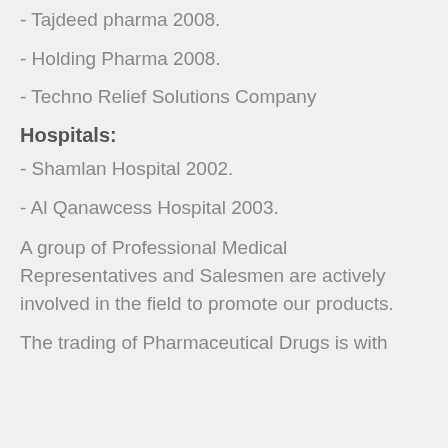- Tajdeed pharma 2008.
- Holding Pharma 2008.
- Techno Relief Solutions Company
Hospitals:
- Shamlan Hospital 2002.
- Al Qanawcess Hospital 2003.
A group of Professional Medical Representatives and Salesmen are actively involved in the field to promote our products.
The trading of Pharmaceutical Drugs is with